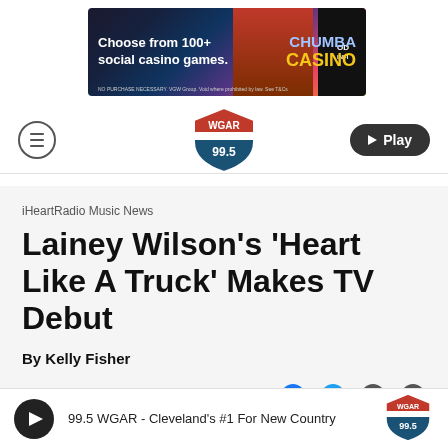[Figure (other): Chumba Casino advertisement banner: 'Choose from 100+ social casino games.' with colorful casino game imagery and Chumba Casino logo]
[Figure (logo): WGAR 99.5 radio station shield logo in red, white and blue]
iHeartRadio Music News
Lainey Wilson's 'Heart Like A Truck' Makes TV Debut
By Kelly Fisher
May 24, 2022
99.5 WGAR - Cleveland's #1 For New Country